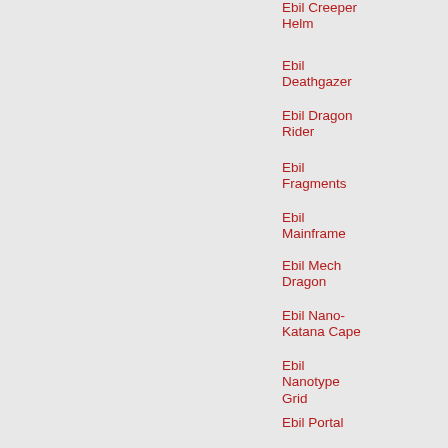Ebil Creeper Helm
Ebil Deathgazer
Ebil Dragon Rider
Ebil Fragments
Ebil Mainframe
Ebil Mech Dragon
Ebil Nano-Katana Cape
Ebil Nanotype Grid
Ebil Portal
Ebil Rhino Beetle
Ebil Robot Guard
Ebil RoosterBull
Ebil Seed Spitter
Ebil Shadowscythe
Ebil SoulTaker